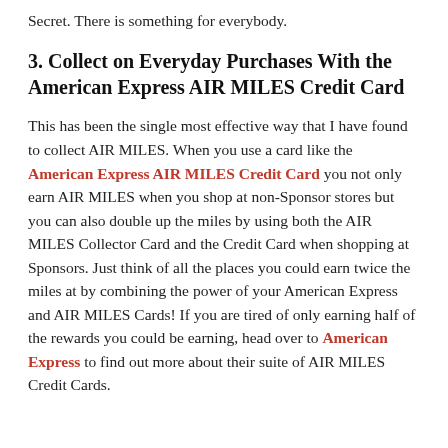Secret. There is something for everybody.
3. Collect on Everyday Purchases With the American Express AIR MILES Credit Card
This has been the single most effective way that I have found to collect AIR MILES. When you use a card like the American Express AIR MILES Credit Card you not only earn AIR MILES when you shop at non-Sponsor stores but you can also double up the miles by using both the AIR MILES Collector Card and the Credit Card when shopping at Sponsors. Just think of all the places you could earn twice the miles at by combining the power of your American Express and AIR MILES Cards! If you are tired of only earning half of the rewards you could be earning, head over to American Express to find out more about their suite of AIR MILES Credit Cards.